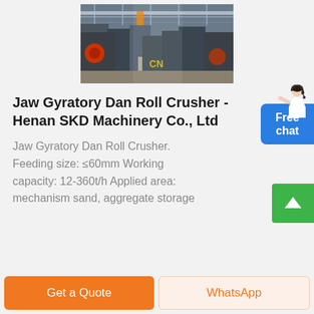[Figure (photo): Factory floor with industrial crushing machinery, overhead crane visible, labeled 'CN' in yellow]
Jaw Gyratory Dan Roll Crusher - Henan SKD Machinery Co., Ltd
Jaw Gyratory Dan Roll Crusher. Feeding size: ≤60mm Working capacity: 12-360t/h Applied area: mechanism sand, aggregate storage
Get a Quote
WhatsApp